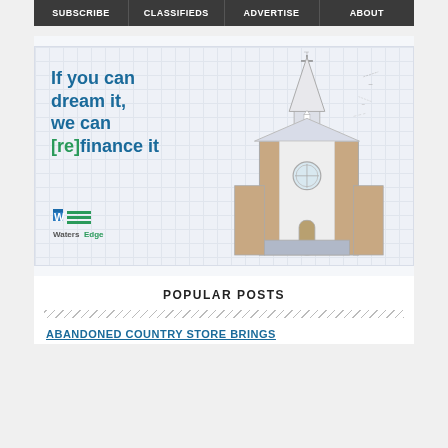SUBSCRIBE | CLASSIFIEDS | ADVERTISE | ABOUT
[Figure (illustration): Advertisement banner: 'If you can dream it, we can [re]finance it' with WatersEdge logo and church building illustration on grid background]
POPULAR POSTS
ABANDONED COUNTRY STORE BRINGS